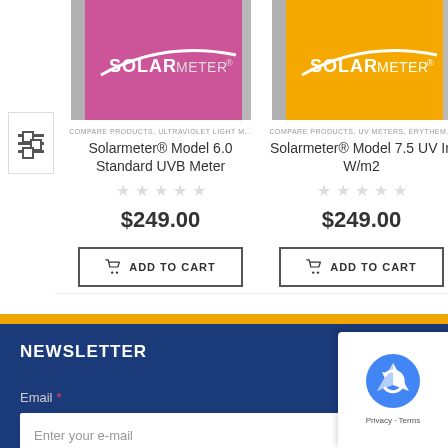[Figure (photo): Solarmeter Model 6.0 product image - pink/purple colored UV meter device]
[Figure (photo): Solarmeter Model 7.5 product image - yellow colored UV meter device]
COMPARE PRODUCTS, ULTRAVIOLET LIGHT M...
COMPARE PRODUCTS, UV METERS, ERYTHEM...
Solarmeter® Model 6.0 Standard UVB Meter
Solarmeter® Model 7.5 UV In W/m2
$249.00
$249.00
ADD TO CART
ADD TO CART
NEWSLETTER
Email *
Enter your e-mail